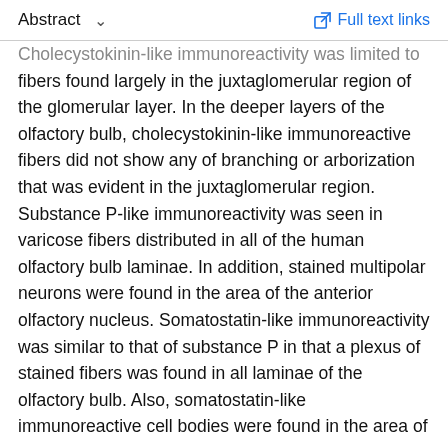Abstract   ∨      Full text links
Cholecystokinin-like immunoreactivity was limited to fibers found largely in the juxtaglomerular region of the glomerular layer. In the deeper layers of the olfactory bulb, cholecystokinin-like immunoreactive fibers did not show any of branching or arborization that was evident in the juxtaglomerular region. Substance P-like immunoreactivity was seen in varicose fibers distributed in all of the human olfactory bulb laminae. In addition, stained multipolar neurons were found in the area of the anterior olfactory nucleus. Somatostatin-like immunoreactivity was similar to that of substance P in that a plexus of stained fibers was found in all laminae of the olfactory bulb. Also, somatostatin-like immunoreactive cell bodies were found in the area of the anterior olfactory nucleus. However, as compared to substance P, somatostatin had a less dense plexus of immunoreactive fibers in the olfactory bulb. These results increase our understanding of the functional organization of the